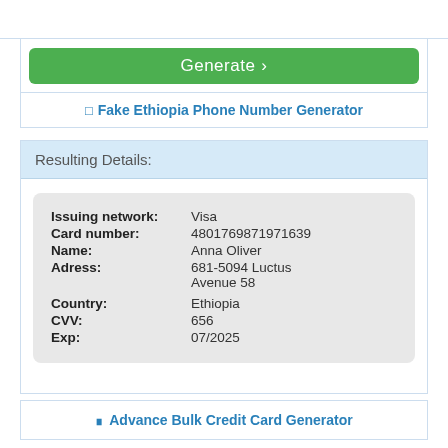[Figure (screenshot): Green Generate button with right arrow]
□ Fake Ethiopia Phone Number Generator
Resulting Details:
| Field | Value |
| --- | --- |
| Issuing network: | Visa |
| Card number: | 4801769871971639 |
| Name: | Anna Oliver |
| Adress: | 681-5094 Luctus Avenue 58 |
| Country: | Ethiopia |
| CVV: | 656 |
| Exp: | 07/2025 |
⊟ Advance Bulk Credit Card Generator